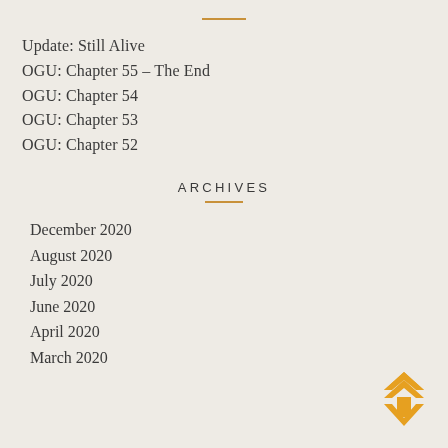Update: Still Alive
OGU: Chapter 55 – The End
OGU: Chapter 54
OGU: Chapter 53
OGU: Chapter 52
ARCHIVES
December 2020
August 2020
July 2020
June 2020
April 2020
March 2020